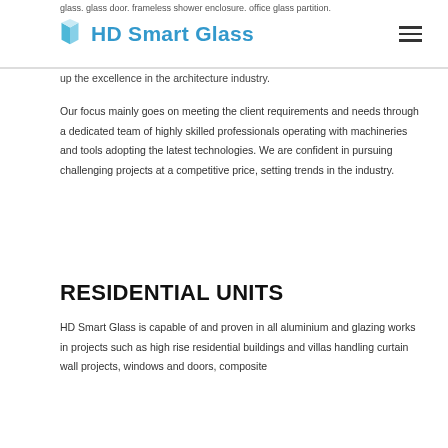glass. glass door. frameless shower enclosure. office glass partition.
[Figure (logo): HD Smart Glass logo with blue geometric diamond/shield icon and text 'HD Smart Glass' in bold blue letters]
up the excellence in the architecture industry.
Our focus mainly goes on meeting the client requirements and needs through a dedicated team of highly skilled professionals operating with machineries and tools adopting the latest technologies. We are confident in pursuing challenging projects at a competitive price, setting trends in the industry.
RESIDENTIAL UNITS
HD Smart Glass is capable of and proven in all aluminium and glazing works in projects such as high rise residential buildings and villas handling curtain wall projects, windows and doors, composite